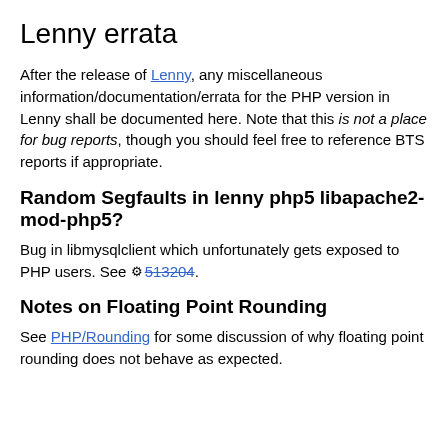Lenny errata
After the release of Lenny, any miscellaneous information/documentation/errata for the PHP version in Lenny shall be documented here. Note that this is not a place for bug reports, though you should feel free to reference BTS reports if appropriate.
Random Segfaults in lenny php5 libapache2-mod-php5?
Bug in libmysqlclient which unfortunately gets exposed to PHP users. See 513204.
Notes on Floating Point Rounding
See PHP/Rounding for some discussion of why floating point rounding does not behave as expected.